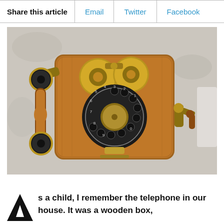| Share this article | Email | Twitter | Facebook |
| --- | --- | --- | --- |
[Figure (photo): An antique wooden wall-mounted rotary telephone with brass bells on top, a wooden handset hanging on the left side, a rotary dial in the center, and a hand crank on the right side. The phone is mounted on a whitewashed stone or plaster wall.]
As a child, I remember the telephone in our house. It was a wooden box,